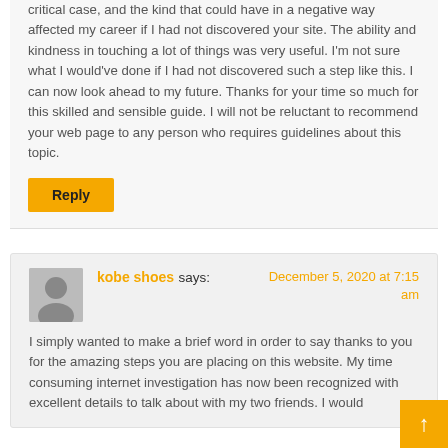critical case, and the kind that could have in a negative way affected my career if I had not discovered your site. The ability and kindness in touching a lot of things was very useful. I'm not sure what I would've done if I had not discovered such a step like this. I can now look ahead to my future. Thanks for your time so much for this skilled and sensible guide. I will not be reluctant to recommend your web page to any person who requires guidelines about this topic.
Reply
kobe shoes says: December 5, 2020 at 7:15 am
I simply wanted to make a brief word in order to say thanks to you for the amazing steps you are placing on this website. My time consuming internet investigation has now been recognized with excellent details to talk about with my two friends. I would